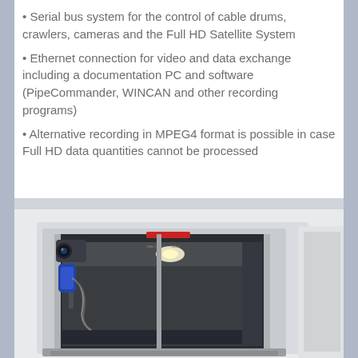Serial bus system for the control of cable drums, crawlers, cameras and the Full HD Satellite System
Ethernet connection for video and data exchange including a documentation PC and software (PipeCommander, WINCAN and other recording programs)
Alternative recording in MPEG4 format is possible in case Full HD data quantities cannot be processed
[Figure (photo): Rear view of a van/vehicle with its back doors open, showing interior equipment including a camera system on the left side and interior lighting. Part of another white vehicle visible on the right edge.]